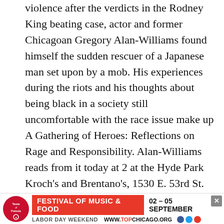As the streets of South-Central Los Angeles erupted into violence after the verdicts in the Rodney King beating case, actor and former Chicagoan Gregory Alan-Williams found himself the sudden rescuer of a Japanese man set upon by a mob. His experiences during the riots and his thoughts about being black in a society still uncomfortable with the race issue make up A Gathering of Heroes: Reflections on Rage and Responsibility. Alan-Williams reads from it today at 2 at the Hyde Park Kroch's and Brentano's, 1530 E. 53rd St. (288-0145), tonight at 6 at Barnes and Noble, 659 W. Diversey (871-9004), tomorrow night at 7 at Waterstone's Booksellers, 840 N. Michigan (587-8080), and Tuesday night at 7:30 at Barbara's Bookstore, 1100 Lake in Oak Park (708-848-9140).
[Figure (other): Advertisement banner for Taste of Polonia Festival of Music & Food, 02-05 September, Labor Day Weekend, www.topchicago.org with social media icons]